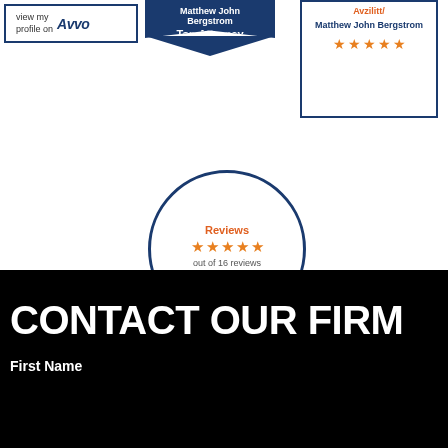[Figure (logo): Avvo profile badge with 'view my profile on Avvo' text and Avvo logo in blue border]
[Figure (logo): Top Attorney badge for Matthew John Bergstrom with dark blue shield/banner shape]
[Figure (logo): Award badge for Matthew John Bergstrom with orange star rating in blue border]
[Figure (logo): Avvo Reviews circular badge showing 5 stars out of 16 reviews for Matthew John Bergstrom]
CONTACT OUR FIRM
First Name